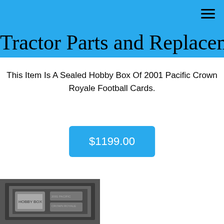Tractor Parts and Replacement
This Item Is A Sealed Hobby Box Of 2001 Pacific Crown Royale Football Cards.
$1199.00
[Figure (photo): Product photo of a sealed hobby box, shown in black and white at the bottom left of the page.]